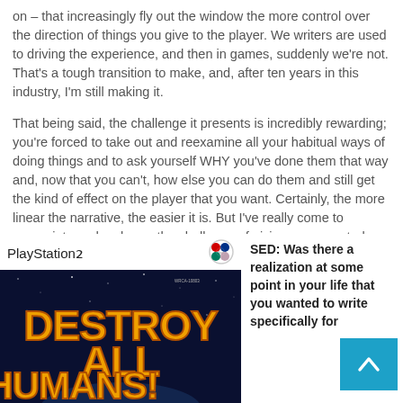on – that increasingly fly out the window the more control over the direction of things you give to the player.  We writers are used to driving the experience, and then in games, suddenly we're not.  That's a tough transition to make, and, after ten years in this industry, I'm still making it.
That being said, the challenge it presents is incredibly rewarding; you're forced to take out and reexamine all your habitual ways of doing things and to ask yourself WHY you've done them that way and, now that you can't, how else you can do them and still get the kind of effect on the player that you want.  Certainly, the more linear the narrative, the easier it is.  But I've really come to appreciate and embrace the challenge of giving some control over to the player.  It's a Zen experience; it's all about letting go.
[Figure (photo): PlayStation 2 game box art for 'Destroy All Humans!' showing bold orange/yellow title text on a dark space background with the PS2 logo and PlayStation symbol in the header.]
SED: Was there a realization at some point in your life that you wanted to write specifically for